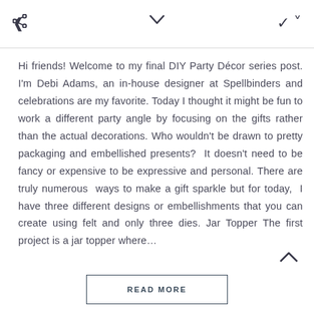< share icon | v chevron
Hi friends! Welcome to my final DIY Party Décor series post. I'm Debi Adams, an in-house designer at Spellbinders and celebrations are my favorite. Today I thought it might be fun to work a different party angle by focusing on the gifts rather than the actual decorations. Who wouldn't be drawn to pretty packaging and embellished presents? It doesn't need to be fancy or expensive to be expressive and personal. There are truly numerous ways to make a gift sparkle but for today, I have three different designs or embellishments that you can create using felt and only three dies. Jar Topper The first project is a jar topper where...
READ MORE